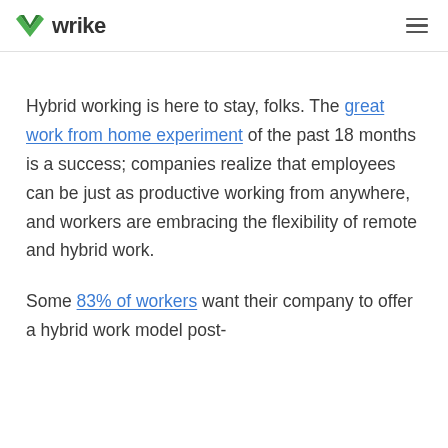wrike
Hybrid working is here to stay, folks. The great work from home experiment of the past 18 months is a success; companies realize that employees can be just as productive working from anywhere, and workers are embracing the flexibility of remote and hybrid work.
Some 83% of workers want their company to offer a hybrid work model post-